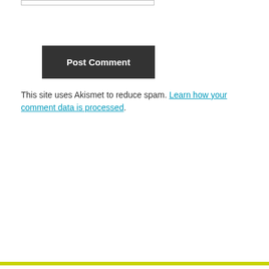[Figure (screenshot): Input text field (top portion, cropped)]
Post Comment
This site uses Akismet to reduce spam. Learn how your comment data is processed.
[Figure (screenshot): Advertisement section with gray background]
Search for
1.  Best Smart Watch